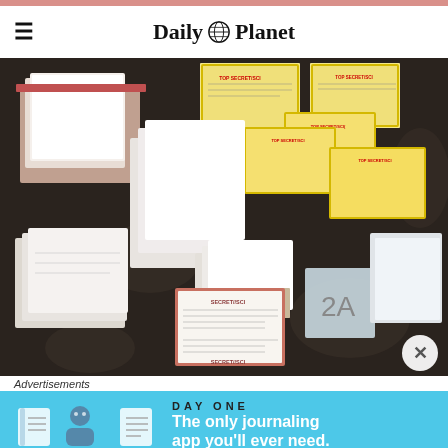Daily Planet
[Figure (photo): A table covered with a dark floral-patterned tablecloth, strewn with numerous documents. Many papers are marked 'TOP SECRET/SCI' in yellow-bordered covers and some with 'SECRET/SCI' in brown-bordered frames. A numbered evidence marker '2A' is visible in the lower right area.]
Advertisements
[Figure (photo): Advertisement for DAY ONE journaling app. Blue background with illustrated icons of a notebook, person, and notepad. Text reads 'DAY ONE' and 'The only journaling app you'll ever need.']